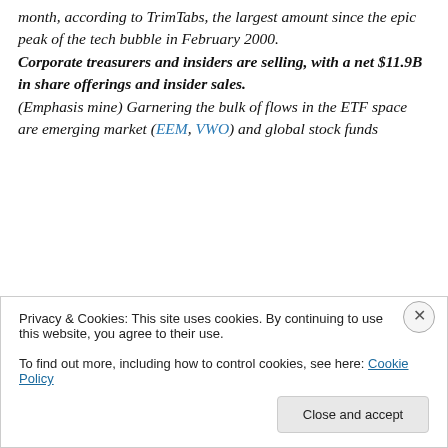month, according to TrimTabs, the largest amount since the epic peak of the tech bubble in February 2000. Corporate treasurers and insiders are selling, with a net $11.9B in share offerings and insider sales. (Emphasis mine) Garnering the bulk of flows in the ETF space are emerging market (EEM, VWO) and global stock funds
Privacy & Cookies: This site uses cookies. By continuing to use this website, you agree to their use. To find out more, including how to control cookies, see here: Cookie Policy